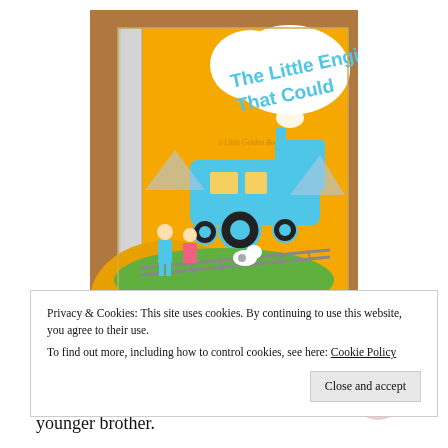[Figure (photo): Photo of a children's book 'The Little Engine That Could' – a Little Golden Book, showing a blue train on the cover with cartoon children, a dog, and a colorful illustrated scene on a yellow/orange background. The book is photographed on a wooden surface.]
Privacy & Cookies: This site uses cookies. By continuing to use this website, you agree to their use.
To find out more, including how to control cookies, see here: Cookie Policy
Close and accept
torn, faded, and fingerprinted with our love. With eight years between us, I read the book to my younger brother.